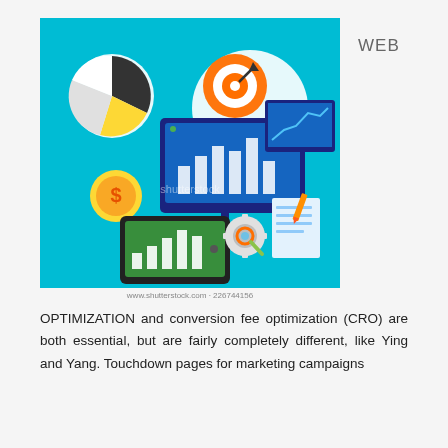[Figure (illustration): Web optimization infographic on cyan/blue background showing pie chart, target/dartboard icon, line chart on screen, bar chart on monitor, dollar coin, tablet with bar graph, gear with magnifying glass, and document with pencil. Shutterstock watermark visible.]
WEB
www.shutterstock.com · 226744156
OPTIMIZATION and conversion fee optimization (CRO) are both essential, but are fairly completely different, like Ying and Yang. Touchdown pages for marketing campaigns